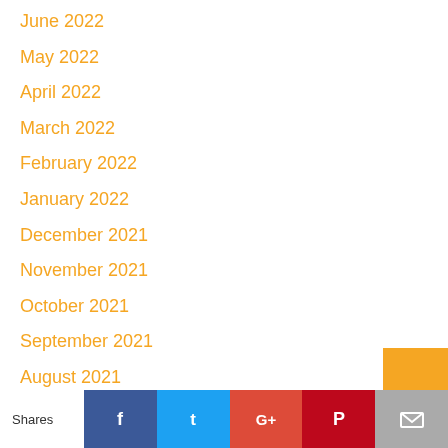June 2022
May 2022
April 2022
March 2022
February 2022
January 2022
December 2021
November 2021
October 2021
September 2021
August 2021
July 2021
Shares | Facebook | Twitter | Google+ | Pinterest | Email